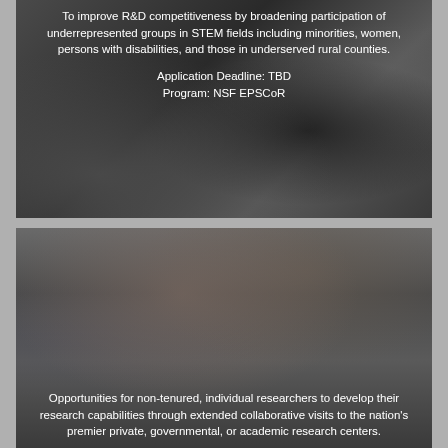[Figure (photo): Researcher using a microscope in a laboratory setting, dark background]
To improve R&D competitiveness by broadening participation of underrepresented groups in STEM fields including minorities, women, persons with disabilities, and those in underserved rural counties.
Application Deadline: TBD
Program: NSF EPSCoR
[Figure (photo): Two researchers (a woman and a man) wearing safety glasses examining something together in a lab]
Opportunities for non-tenured, individual researchers to develop their research capabilities through extended collaborative visits to the nation's premier private, governmental, or academic research centers.